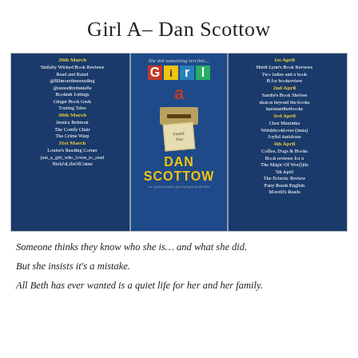Girl A- Dan Scottow
[Figure (infographic): Book blog tour banner for 'Girl A' by Dan Scottow. Blue background with book cover in center showing 'Girl A' in cut-out letters, a letterbox and a 'Found You' note. Left column lists blog tour participants for 29th March, 30th March, 31st March. Right column lists participants for 1st April, 2nd April, 3rd April, 4th April, 5th April.]
Someone thinks they know who she is... and what she did.
But she insists it's a mistake.
All Beth has ever wanted is a quiet life for her and her family.